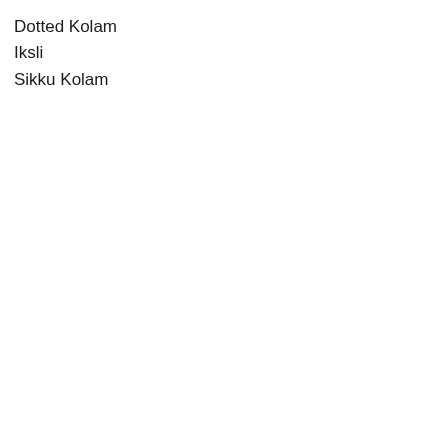Dotted Kolam
Iksli
Sikku Kolam